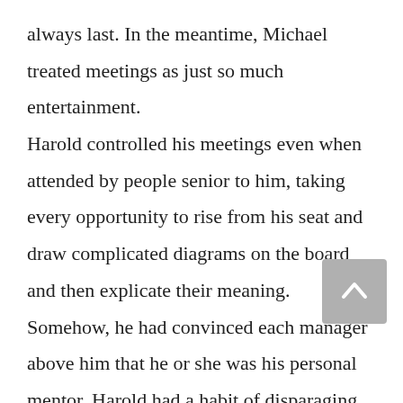always last. In the meantime, Michael treated meetings as just so much entertainment. Harold controlled his meetings even when attended by people senior to him, taking every opportunity to rise from his seat and draw complicated diagrams on the board and then explicate their meaning. Somehow, he had convinced each manager above him that he or she was his personal mentor. Harold had a habit of disparaging people's ideas in front of their supervisors. In California,